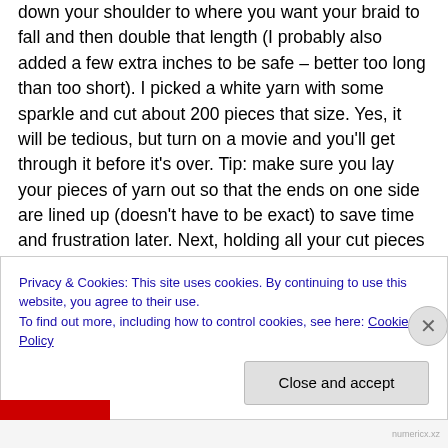down your shoulder to where you want your braid to fall and then double that length (I probably also added a few extra inches to be safe – better too long than too short). I picked a white yarn with some sparkle and cut about 200 pieces that size. Yes, it will be tedious, but turn on a movie and you'll get through it before it's over. Tip: make sure you lay your pieces of yarn out so that the ends on one side are lined up (doesn't have to be exact) to save time and frustration later. Next, holding all your cut pieces together, tie a knot at the lined up end and stick it under something heavy (I put it under my laptop). Comb through
Privacy & Cookies: This site uses cookies. By continuing to use this website, you agree to their use.
To find out more, including how to control cookies, see here: Cookie Policy